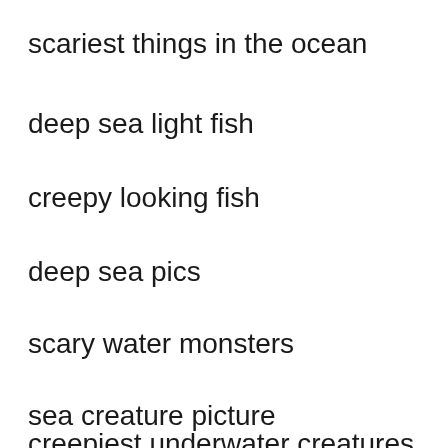scariest things in the ocean
deep sea light fish
creepy looking fish
deep sea pics
scary water monsters
sea creature picture
creepiest underwater creatures